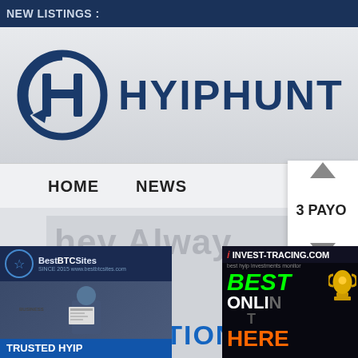NEW LISTINGS :
[Figure (logo): HYIPHUNT logo with circular H icon and bold blue text]
HOME  NEWS  ▲ 3 PAYO
[Figure (illustration): Navigation dropdown with up and down arrows]
hey Alway
[Figure (advertisement): BestBTCSites - Trusted HYIP Reviews Blog advertisement banner with person holding newspaper]
[Figure (advertisement): Invest-Tracing.com - Best Online Here advertisement banner with green and orange text]
INNOVATION IS